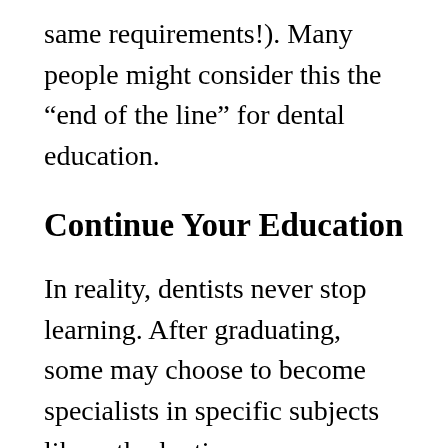same requirements!). Many people might consider this the “end of the line” for dental education.
Continue Your Education
In reality, dentists never stop learning. After graduating, some may choose to become specialists in specific subjects like orthodontics or periodontics, which typically requires two to six more years of education. For those who haven't been counting, that means that dentists spend eight to fourteen